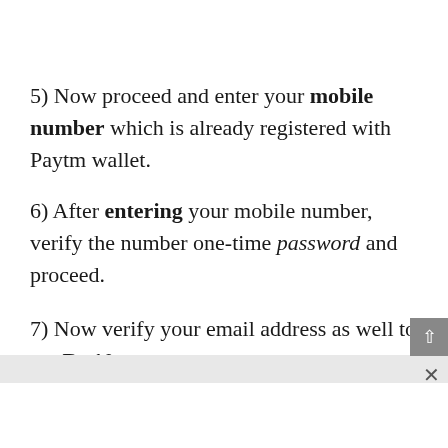5) Now proceed and enter your mobile number which is already registered with Paytm wallet.
6) After entering your mobile number, verify the number one-time password and proceed.
7) Now verify your email address as well to get Rs 10 extra.